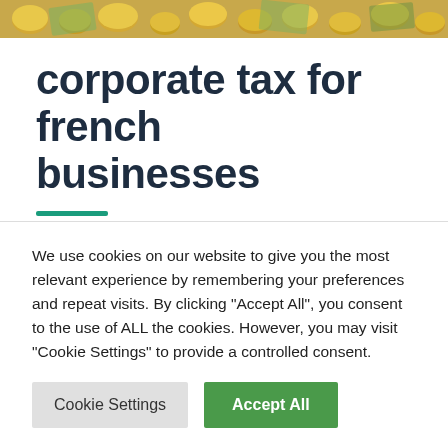[Figure (photo): Hero image showing coins and currency at the top of the page]
corporate tax for french businesses
In France, there are two different methods of taxation: The Corporate Tax, and the Income Tax. While the corporate tax is generally associated with companies and the income tax with
We use cookies on our website to give you the most relevant experience by remembering your preferences and repeat visits. By clicking "Accept All", you consent to the use of ALL the cookies. However, you may visit "Cookie Settings" to provide a controlled consent.